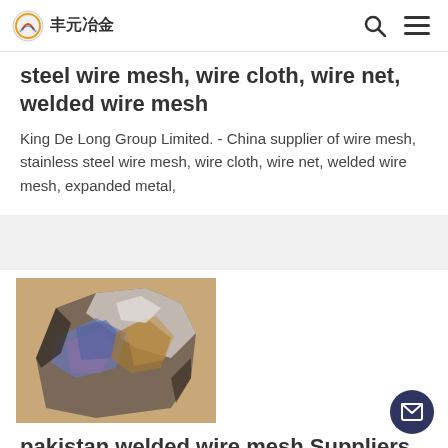丰元冶金
steel wire mesh, wire cloth, wire net, welded wire mesh
King De Long Group Limited. - China supplier of wire mesh, stainless steel wire mesh, wire cloth, wire net, welded wire mesh, expanded metal,
[Figure (photo): Photo of a metallic ore or rock specimen showing iridescent blue-purple coloring on its surface, against a tan/brown background]
pakistan welded wire mesh Suppliers Manufacturers
Pakistan welded wire mesh Suppliers Manufacturers